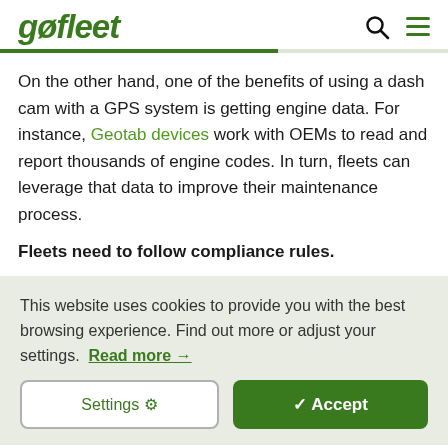gofleet
On the other hand, one of the benefits of using a dash cam with a GPS system is getting engine data. For instance, Geotab devices work with OEMs to read and report thousands of engine codes. In turn, fleets can leverage that data to improve their maintenance process.
Fleets need to follow compliance rules.
This website uses cookies to provide you with the best browsing experience. Find out more or adjust your settings. Read more →
Settings ⚙  Accept